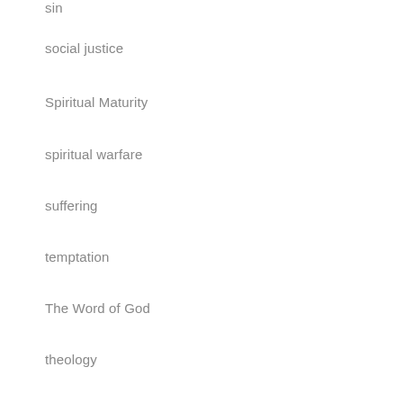sin
social justice
Spiritual Maturity
spiritual warfare
suffering
temptation
The Word of God
theology
Uncategorized
Archives
August 2022
July 2022